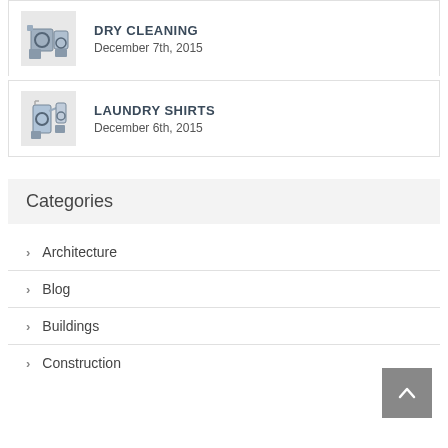[Figure (other): Dry cleaning machine thumbnail image]
DRY CLEANING
December 7th, 2015
[Figure (other): Laundry shirts machine thumbnail image]
LAUNDRY SHIRTS
December 6th, 2015
Categories
Architecture
Blog
Buildings
Construction